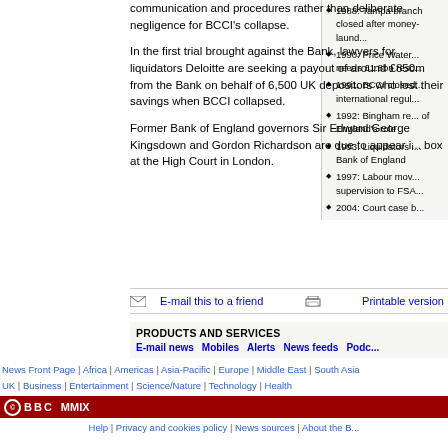communication and procedures rather than deliberate negligence for BCCI's collapse.
In the first trial brought against the Bank, lawyers for liquidators Deloitte are seeking a payout of around £850m from the Bank on behalf of 6,500 UK depositors who lost their savings when BCCI collapsed.
1988: Tampa branch closed after money-laund...
1990: Price Water... needs £1.8bn resc...
1991: BCCI closed... international regul...
1992: Bingham re... of England's role
1993: Liquidators i... Bank of England
1997: Labour mov... supervision to FSA...
2004: Court case b...
Former Bank of England governors Sir Edward George Kingsdown and Gordon Richardson are due to appear i... box at the High Court in London.
E-mail this to a friend    Printable version
PRODUCTS AND SERVICES
E-mail news   Mobiles   Alerts   News feeds   Podc...
News Front Page | Africa | Americas | Asia-Pacific | Europe | Middle East | South Asia
UK | Business | Entertainment | Science/Nature | Technology | Health
Have Your Say | In Pictures | Week at a Glance | Country Profiles | In Depth | Programmes
© BBC MMIX
Help | Privacy and cookies policy | News sources | About the B...